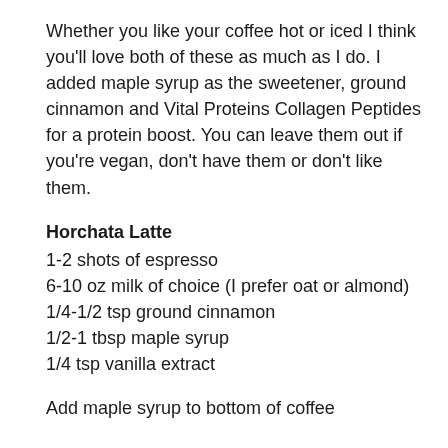Whether you like your coffee hot or iced I think you'll love both of these as much as I do. I added maple syrup as the sweetener, ground cinnamon and Vital Proteins Collagen Peptides for a protein boost. You can leave them out if you're vegan, don't have them or don't like them.
Horchata Latte
1-2 shots of espresso
6-10 oz milk of choice (I prefer oat or almond)
1/4-1/2 tsp ground cinnamon
1/2-1 tbsp maple syrup
1/4 tsp vanilla extract
Add maple syrup to bottom of coffee